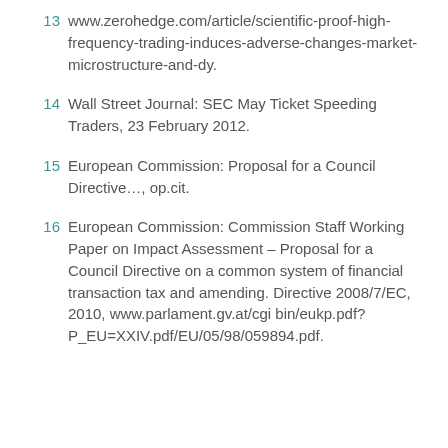13  www.zerohedge.com/article/scientific-proof-high-frequency-trading-induces-adverse-changes-market-microstructure-and-dy.
14  Wall Street Journal: SEC May Ticket Speeding Traders, 23 February 2012.
15  European Commission: Proposal for a Council Directive…, op.cit.
16  European Commission: Commission Staff Working Paper on Impact Assessment – Proposal for a Council Directive on a common system of financial transaction tax and amending. Directive 2008/7/EC, 2010, www.parlament.gv.at/cgi bin/eukp.pdf? P_EU=XXIV.pdf/EU/05/98/059894.pdf.